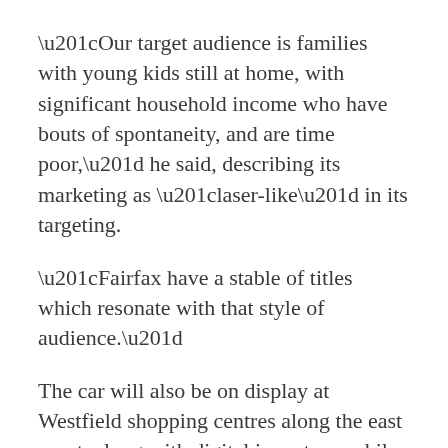“Our target audience is families with young kids still at home, with significant household income who have bouts of spontaneity, and are time poor,” he said, describing its marketing as “laser-like” in its targeting.
“Fairfax have a stable of titles which resonate with that style of audience.”
The car will also be on display at Westfield shopping centres along the east coast, along with digital inventory, while five Qantas airport lounges will show seven second versions of the TVC.
The TVC itself, which features Swedish DJ Avicci, has 60, 30 and 15 second versions and will feature on free to air and subscription TV.